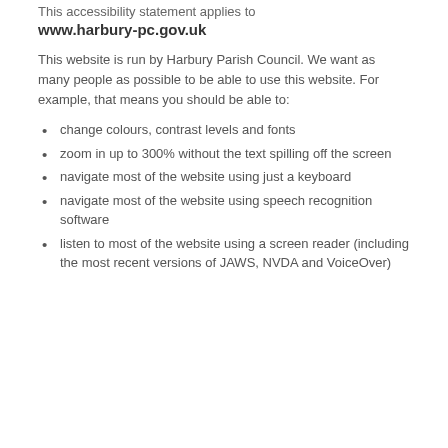This accessibility statement applies to
www.harbury-pc.gov.uk
This website is run by Harbury Parish Council. We want as many people as possible to be able to use this website. For example, that means you should be able to:
change colours, contrast levels and fonts
zoom in up to 300% without the text spilling off the screen
navigate most of the website using just a keyboard
navigate most of the website using speech recognition software
listen to most of the website using a screen reader (including the most recent versions of JAWS, NVDA and VoiceOver)